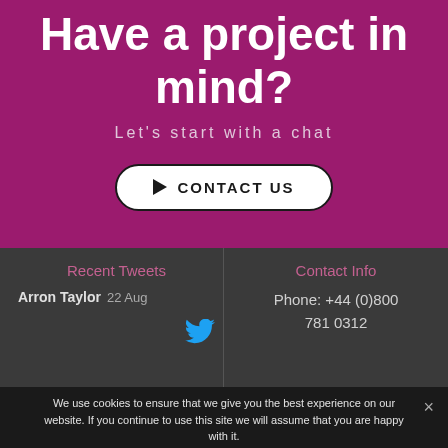Have a project in mind?
Let's start with a chat
▶ CONTACT US
Recent Tweets
Contact Info
Arron Taylor  22 Aug
Phone: +44 (0)800 781 0312
We use cookies to ensure that we give you the best experience on our website. If you continue to use this site we will assume that you are happy with it.
Ok